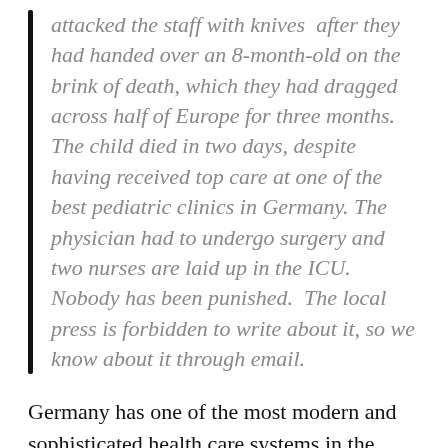attacked the staff with knives after they had handed over an 8-month-old on the brink of death, which they had dragged across half of Europe for three months. The child died in two days, despite having received top care at one of the best pediatric clinics in Germany. The physician had to undergo surgery and two nurses are laid up in the ICU. Nobody has been punished. The local press is forbidden to write about it, so we know about it through email.
Germany has one of the most modern and sophisticated health care systems in the world.